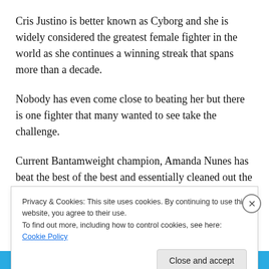Cris Justino is better known as Cyborg and she is widely considered the greatest female fighter in the world as she continues a winning streak that spans more than a decade.
Nobody has even come close to beating her but there is one fighter that many wanted to see take the challenge.
Current Bantamweight champion, Amanda Nunes has beat the best of the best and essentially cleaned out the bantamweight division.
Privacy & Cookies: This site uses cookies. By continuing to use this website, you agree to their use.
To find out more, including how to control cookies, see here: Cookie Policy